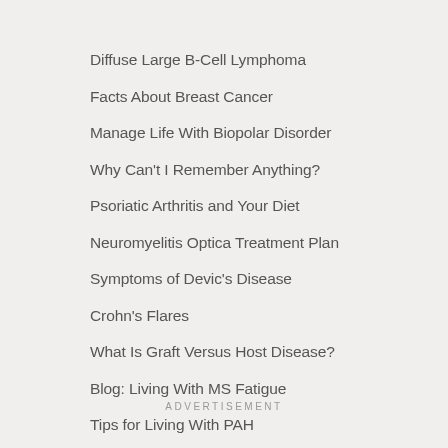Diffuse Large B-Cell Lymphoma
Facts About Breast Cancer
Manage Life With Biopolar Disorder
Why Can't I Remember Anything?
Psoriatic Arthritis and Your Diet
Neuromyelitis Optica Treatment Plan
Symptoms of Devic's Disease
Crohn's Flares
What Is Graft Versus Host Disease?
Blog: Living With MS Fatigue
Tips for Living With PAH
What to Know About Psoriasis
ADVERTISEMENT